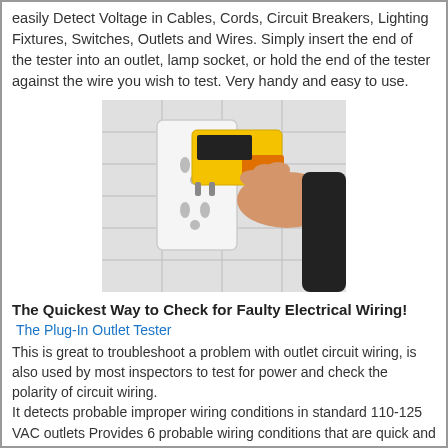easily Detect Voltage in Cables, Cords, Circuit Breakers, Lighting Fixtures, Switches, Outlets and Wires. Simply insert the end of the tester into an outlet, lamp socket, or hold the end of the tester against the wire you wish to test. Very handy and easy to use.
[Figure (photo): A hand holding a yellow and black plug-in outlet tester being inserted into a white electrical outlet mounted on a tiled wall.]
The Quickest Way to Check for Faulty Electrical Wiring!
The Plug-In Outlet Tester
This is great to troubleshoot a problem with outlet circuit wiring, is also used by most inspectors to test for power and check the polarity of circuit wiring.
It detects probable improper wiring conditions in standard 110-125 VAC outlets Provides 6 probable wiring conditions that are quick and easy to read for ultimate efficiency Lights indicate if wiring is correct and indicator light chart is included Tests standard 3-wire outlets UL Listed Light indicates if wiring is incorrect. Very handy and easy to use.